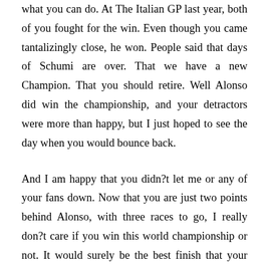what you can do. At The Italian GP last year, both of you fought for the win. Even though you came tantalizingly close, he won. People said that days of Schumi are over. That we have a new Champion. That you should retire. Well Alonso did win the championship, and your detractors were more than happy, but I just hoped to see the day when you would bounce back.
And I am happy that you didn?t let me or any of your fans down. Now that you are just two points behind Alonso, with three races to go, I really don?t care if you win this world championship or not. It would surely be the best finish that your career deserves. But even otherwise, I can only thank you for all the wonderful memories that you have given to the world of sport. People will always ponder over to decide who has been the greatest driver of